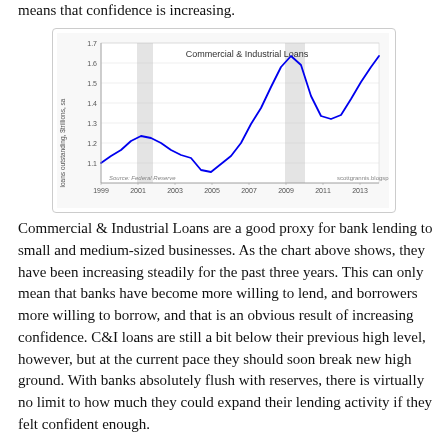means that confidence is increasing.
[Figure (line-chart): Line chart showing Commercial & Industrial Loans outstanding in $trillions SA from 1999 to 2013. Two shaded recession bands around 2001 and 2008-2009. Line starts ~0.93T in 1999, rises to ~1.1T in 2001, dips to ~0.85T in 2004, rises steeply to ~1.6T peak in 2008, drops to ~1.2T in 2010, then rises again to ~1.6T by 2013.]
Commercial & Industrial Loans are a good proxy for bank lending to small and medium-sized businesses. As the chart above shows, they have been increasing steadily for the past three years. This can only mean that banks have become more willing to lend, and borrowers more willing to borrow, and that is an obvious result of increasing confidence. C&I loans are still a bit below their previous high level, however, but at the current pace they should soon break new high ground. With banks absolutely flush with reserves, there is virtually no limit to how much they could expand their lending activity if they felt confident enough.